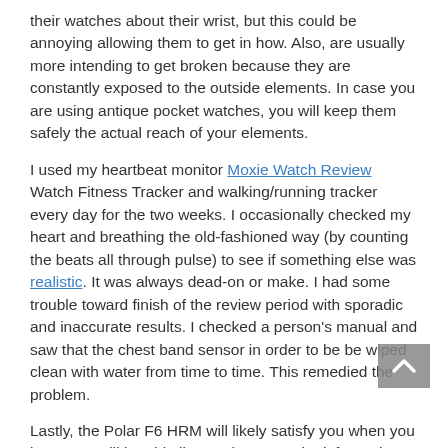their watches about their wrist, but this could be annoying allowing them to get in how. Also, are usually more intending to get broken because they are constantly exposed to the outside elements. In case you are using antique pocket watches, you will keep them safely the actual reach of your elements.
I used my heartbeat monitor Moxie Watch Review Watch Fitness Tracker and walking/running tracker every day for the two weeks. I occasionally checked my heart and breathing the old-fashioned way (by counting the beats all through pulse) to see if something else was realistic. It was always dead-on or make. I had some trouble toward finish of the review period with sporadic and inaccurate results. I checked a person's manual and saw that the chest band sensor in order to be be wiped clean with water from time to time. This remedied the problem.
Lastly, the Polar F6 HRM will likely satisfy you when you learn you will be able liposuction costs the information off Best Wrist Watch automobile . or simply listen going without running shoes. This is a great monitor for measuring warm-ups and it could also let you know when you're to find a proper regimen. Many people have said that Polar HRM was disappointing